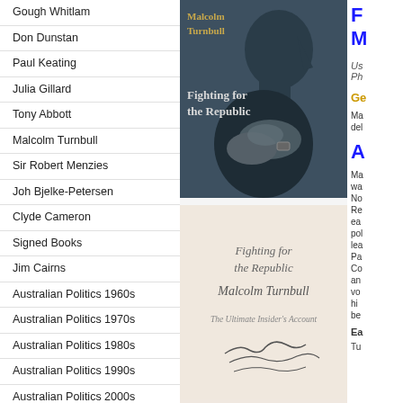Gough Whitlam
Don Dunstan
Paul Keating
Julia Gillard
Tony Abbott
Malcolm Turnbull
Sir Robert Menzies
Joh Bjelke-Petersen
Clyde Cameron
Signed Books
Jim Cairns
Australian Politics 1960s
Australian Politics 1970s
Australian Politics 1980s
Australian Politics 1990s
Australian Politics 2000s
Biography
General Politics
Political Theory
USA Politics Books
Main Menu
Posting or shipping your purchase
[Figure (photo): Book cover of Malcolm Turnbull's Fighting for the Republic — black and white photo of a man in profile with hands clasped, with gold and white title text on dark background]
[Figure (photo): Book interior page or back cover of Fighting for the Republic by Malcolm Turnbull — The Ultimate Insider's Account, with signature, on light peach/cream background]
F
M
Us Ph
Ge
Ma del
A
Ma wa No Re ea pol lea Pa Co an vo hi be
Ea
Tu